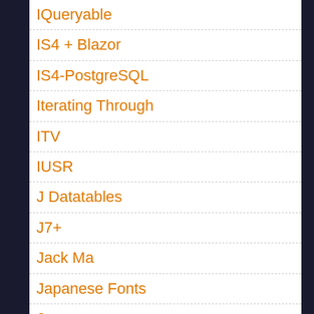IQueryable
IS4 + Blazor
IS4-PostgreSQL
Iterating Through
ITV
IUSR
J Datatables
J7+
Jack Ma
Japanese Fonts
Java
Java App
Java Unit Test
Javascript
JavaScript + HTML
Javascript 1 Line Of Code